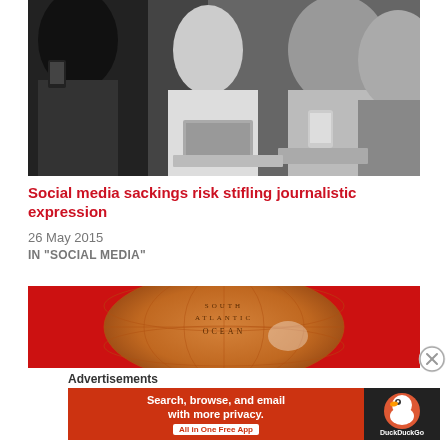[Figure (photo): Black and white photo of people in a crowd using smartphones and laptops, focused on a woman in the center using a laptop]
Social media sackings risk stifling journalistic expression
26 May 2015
IN "SOCIAL MEDIA"
[Figure (photo): Photo of an antique globe showing the South Atlantic Ocean label, with red background]
Advertisements
[Figure (infographic): DuckDuckGo advertisement banner: Search, browse, and email with more privacy. All in One Free App. Shows DuckDuckGo logo on dark right panel.]